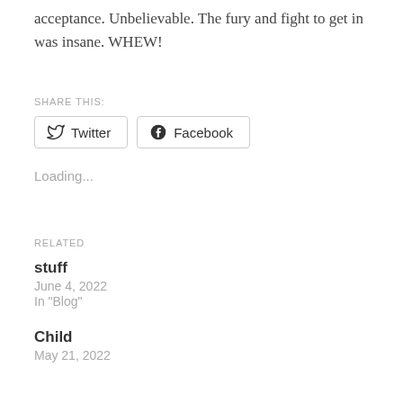acceptance. Unbelievable. The fury and fight to get in was insane. WHEW!
SHARE THIS:
[Figure (other): Share buttons for Twitter and Facebook]
Loading...
RELATED
stuff
June 4, 2022
In "Blog"
Child
May 21, 2022